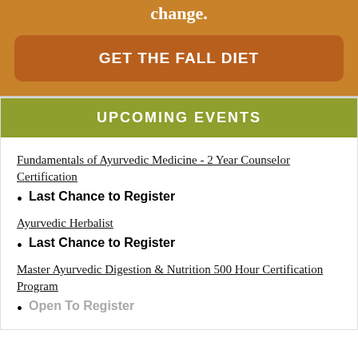change.
GET THE FALL DIET
UPCOMING EVENTS
Fundamentals of Ayurvedic Medicine - 2 Year Counselor Certification
Last Chance to Register
Ayurvedic Herbalist
Last Chance to Register
Master Ayurvedic Digestion & Nutrition 500 Hour Certification Program
Open To Register